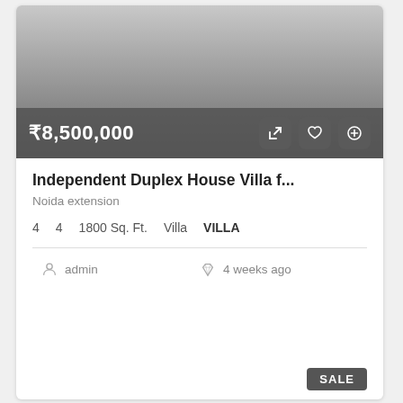[Figure (photo): Property listing card image area with gradient overlay showing price ₹8,500,000 and action icons]
Independent Duplex House Villa f...
Noida extension
4   4   1800 Sq. Ft.   Villa   VILLA
admin   4 weeks ago
SALE